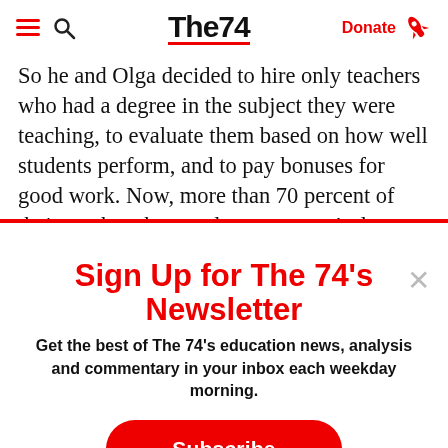The74 | Donate
So he and Olga decided to hire only teachers who had a degree in the subject they were teaching, to evaluate them based on how well students perform, and to pay bonuses for good work. Now, more than 70 percent of their teachers have at least a master's degree in their
Sign Up for The 74's Newsletter
Get the best of The 74's education news, analysis and commentary in your inbox each weekday morning.
Subscribe